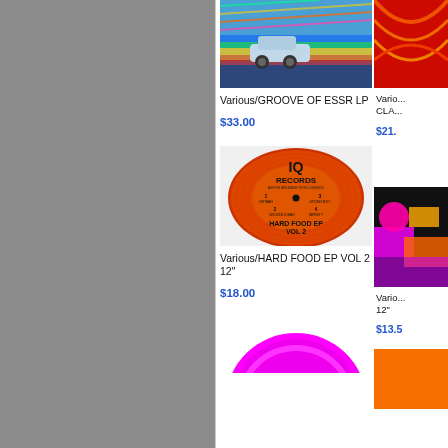[Figure (photo): Album/record product image - car on colorful road, Groove of ESSR LP]
Various/GROOVE OF ESSR LP
$33.00
[Figure (photo): IQ Records orange vinyl label - Hard Food EP Vol 2]
Various/HARD FOOD EP VOL 2 12"
$18.00
[Figure (photo): Pink vinyl record, partially visible at bottom]
[Figure (photo): Partially visible album cover - right column top]
Vario... CLA...
$21.
[Figure (photo): Partially visible album - right column middle, colorful/neon]
Vario... 12"
$13.5
[Figure (photo): Partially visible orange album - right column bottom]